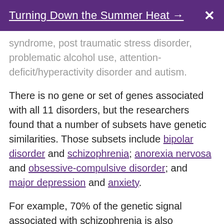Turning Down the Summer Heat →
syndrome, post traumatic stress disorder, problematic alcohol use, attention-deficit/hyperactivity disorder and autism.
There is no gene or set of genes associated with all 11 disorders, but the researchers found that a number of subsets have genetic similarities. Those subsets include bipolar disorder and schizophrenia; anorexia nervosa and obsessive-compulsive disorder; and major depression and anxiety.
For example, 70% of the genetic signal associated with schizophrenia is also associated with bipolar disorder. But under current diagnostic guidelines, people aren't typically diagnosed with both disorders, the study team noted.
The researchers also found strong shared genetics